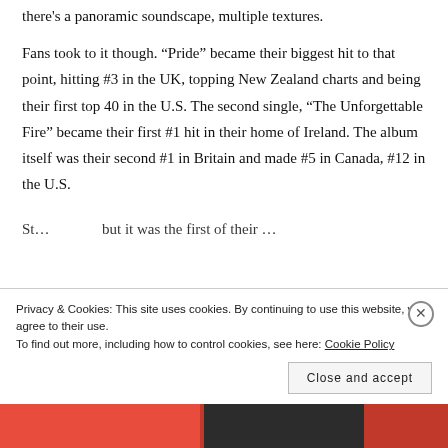there's a panoramic soundscape, multiple textures.
Fans took to it though. “Pride” became their biggest hit to that point, hitting #3 in the UK, topping New Zealand charts and being their first top 40 in the U.S. The second single, “The Unforgettable Fire” became their first #1 hit in their home of Ireland. The album itself was their second #1 in Britain and made #5 in Canada, #12 in the U.S.
St… but it was the first of their…
Privacy & Cookies: This site uses cookies. By continuing to use this website, you agree to their use.
To find out more, including how to control cookies, see here: Cookie Policy
Close and accept